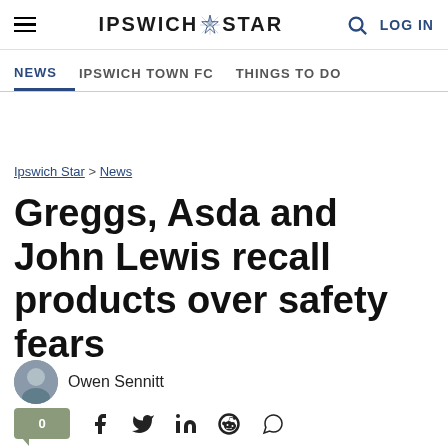Ipswich Star — NEWS | IPSWICH TOWN FC | THINGS TO DO
Ipswich Star > News
Greggs, Asda and John Lewis recall products over safety fears
Owen Sennitt